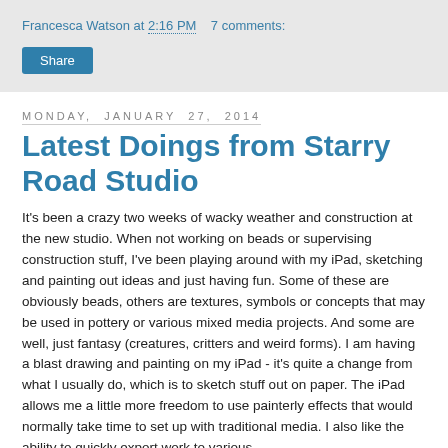Francesca Watson at 2:16 PM   7 comments:
Share
Monday, January 27, 2014
Latest Doings from Starry Road Studio
It's been a crazy two weeks of wacky weather and construction at the new studio. When not working on beads or supervising construction stuff, I've been playing around with my iPad, sketching and painting out ideas and just having fun. Some of these are obviously beads, others are textures, symbols or concepts that may be used in pottery or various mixed media projects. And some are well, just fantasy (creatures, critters and weird forms). I am having a blast drawing and painting on my iPad - it's quite a change from what I usually do, which is to sketch stuff out on paper. The iPad allows me a little more freedom to use painterly effects that would normally take time to set up with traditional media. I also like the ability to quickly export work to various